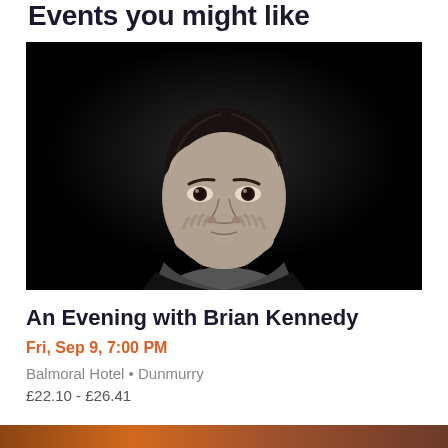Events you might like
[Figure (photo): Black and white portrait photo of Brian Kennedy, a man with dark wavy hair, looking at the camera with his hands clasped near his face against a dark background.]
An Evening with Brian Kennedy
Fri, Sep 9, 7:00 PM
Balmoral Hotel • Dunmurry
£22.10 - £26.41